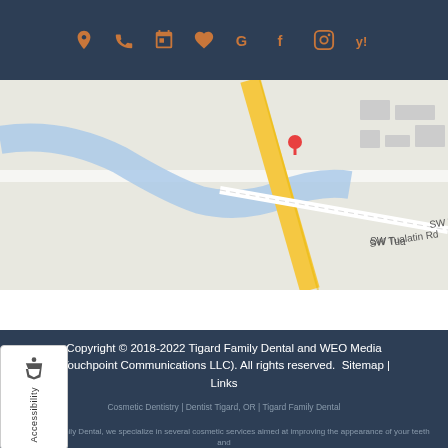Navigation icon bar with location, phone, calendar, heart, Google, Facebook, Instagram, Yelp icons
MENU
[Figure (map): Google Maps snippet showing SW Tualatin Rd area in Tigard, OR with road markings including a yellow diagonal road, blue river/water, and street labels 'SW Tualatin Rd' and 'SW Tua']
Copyright © 2018-2022 Tigard Family Dental and WEO Media (Touchpoint Communications LLC). All rights reserved.  Sitemap | Links

Cosmetic Dentistry | Dentist Tigard, OR | Tigard Family Dental

At Tigard Family Dental, we specialize in several cosmetic services aimed at improving the appearance of your teeth and overall smile. Click here to learn more!

Tigard Family Dental, 11820 SW King James Pl, Suite 20, Tigard, OR 97224 - (971) 762-1262 - tigardfamilydental.com - 8/12/2022 - Page Terms:dental implants Tigard OR -